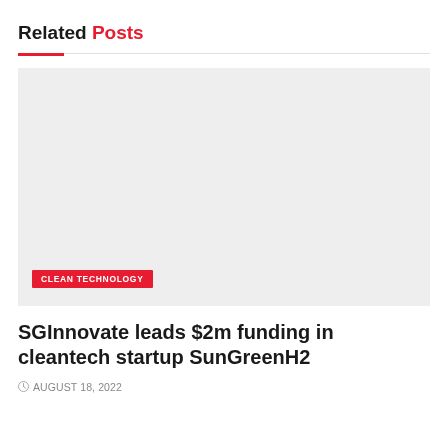Related Posts
[Figure (photo): Light grey placeholder image for a related article card]
CLEAN TECHNOLOGY
SGInnovate leads $2m funding in cleantech startup SunGreenH2
AUGUST 18, 2022